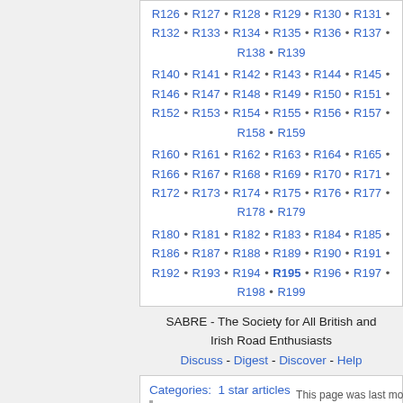R126 • R127 • R128 • R129 • R130 • R131 • R132 • R133 • R134 • R135 • R136 • R137 • R138 • R139
R140 • R141 • R142 • R143 • R144 • R145 • R146 • R147 • R148 • R149 • R150 • R151 • R152 • R153 • R154 • R155 • R156 • R157 • R158 • R159
R160 • R161 • R162 • R163 • R164 • R165 • R166 • R167 • R168 • R169 • R170 • R171 • R172 • R173 • R174 • R175 • R176 • R177 • R178 • R179
R180 • R181 • R182 • R183 • R184 • R185 • R186 • R187 • R188 • R189 • R190 • R191 • R192 • R193 • R194 • R195 • R196 • R197 • R198 • R199
SABRE - The Society for All British and Irish Road Enthusiasts
Discuss - Digest - Discover - Help
Categories:  1 star articles
R100-R199
This page was last modified on 29 April 2020, at